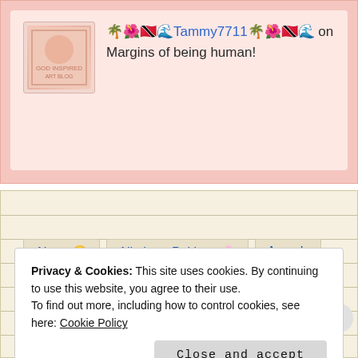🌴🌺🇹🇹🌊Tammy7711🌴🌺🇹🇹🌊 on Margins of being human!
About 🙂   All about Pakistan🌸   Awards   Being Grateful.💕   Blogger's Birthdays.! 📍   Blogging 😊
Privacy & Cookies: This site uses cookies. By continuing to use this website, you agree to their use.
To find out more, including how to control cookies, see here: Cookie Policy
Close and accept